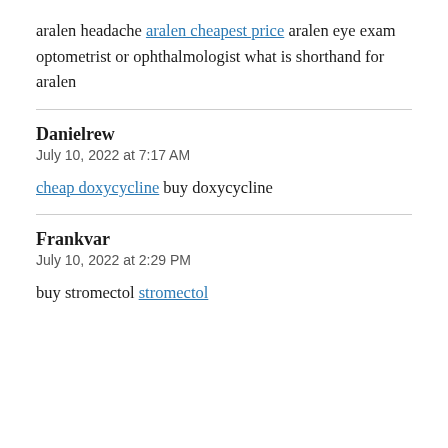aralen headache aralen cheapest price aralen eye exam optometrist or ophthalmologist what is shorthand for aralen
Danielrew
July 10, 2022 at 7:17 AM
cheap doxycycline buy doxycycline
Frankvar
July 10, 2022 at 2:29 PM
buy stromectol stromectol